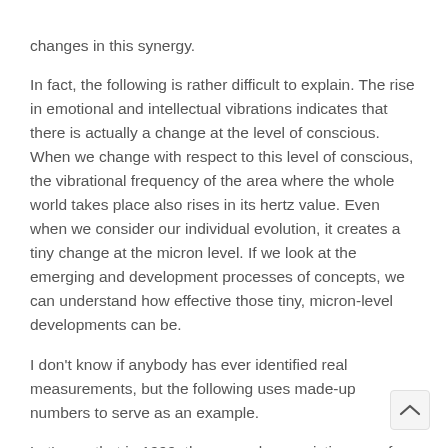changes in this synergy.
In fact, the following is rather difficult to explain. The rise in emotional and intellectual vibrations indicates that there is actually a change at the level of conscious. When we change with respect to this level of conscious, the vibrational frequency of the area where the whole world takes place also rises in its hertz value. Even when we consider our individual evolution, it creates a tiny change at the micron level. If we look at the emerging and development processes of concepts, we can understand how effective those tiny, micron-level developments can be.
I don't know if anybody has ever identified real measurements, but the following uses made-up numbers to serve as an example.
Let's say that in 1999, the general synergistic area of the world was at a frequency of 99 hertz. At the same time, Turkey as a country had a vibration level with its own 89